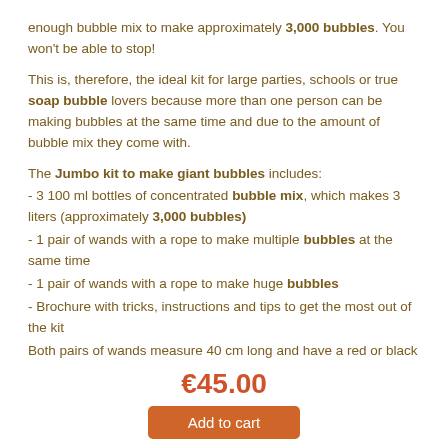enough bubble mix to make approximately 3,000 bubbles. You won't be able to stop!
This is, therefore, the ideal kit for large parties, schools or true soap bubble lovers because more than one person can be making bubbles at the same time and due to the amount of bubble mix they come with.
The Jumbo kit to make giant bubbles includes:
- 3 100 ml bottles of concentrated bubble mix, which makes 3 liters (approximately 3,000 bubbles)
- 1 pair of wands with a rope to make multiple bubbles at the same time
- 1 pair of wands with a rope to make huge bubbles
- Brochure with tricks, instructions and tips to get the most out of the kit
Both pairs of wands measure 40 cm long and have a red or black
€45.00
Add to cart